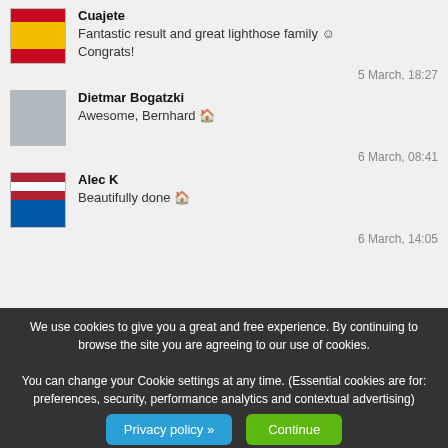Cuajete
Fantastic result and great lighthose family ☺ Congrats!
5 March, 18:27
Dietmar Bogatzki
Awesome, Bernhard 🏠
6 March, 08:41
Alec K
Beautifully done 🏠
6 March, 14:05
Project
Kermorvan Lighthouse (Bretagne, 1849)
We use cookies to give you a great and free experience. By continuing to browse the site you are agreeing to our use of cookies.

You can change your Cookie settings at any time. (Essential cookies are for: preferences, security, performance analytics and contextual advertising)